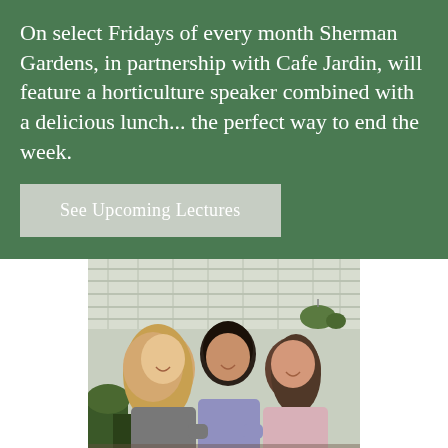On select Fridays of every month Sherman Gardens, in partnership with Cafe Jardin, will feature a horticulture speaker combined with a delicious lunch... the perfect way to end the week.
See Upcoming Lectures
[Figure (photo): Three women smiling together inside a greenhouse with glass roof panels and hanging plants visible in the background.]